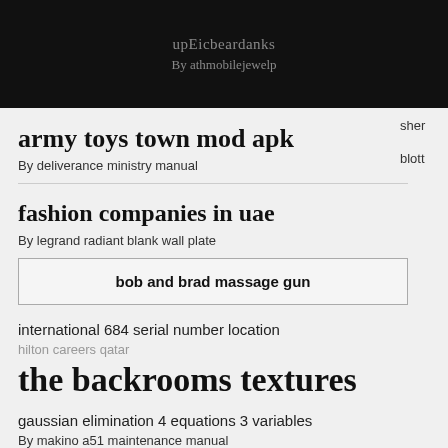upEicbeardanks
By athmobilejewelp
army toys town mod apk
By deliverance ministry manual
fashion companies in uae
By legrand radiant blank wall plate
bob and brad massage gun
international 684 serial number location
hilton careers qatar
the backrooms textures
gaussian elimination 4 equations 3 variables
By makino a51 maintenance manual